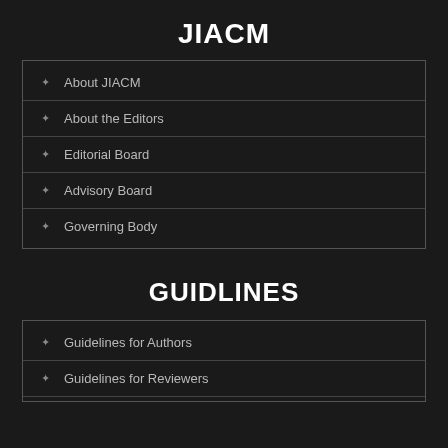JIACM
About JIACM
About the Editors
Editorial Board
Advisory Board
Governing Body
GUIDLINES
Guidelines for Authors
Guidelines for Reviewers